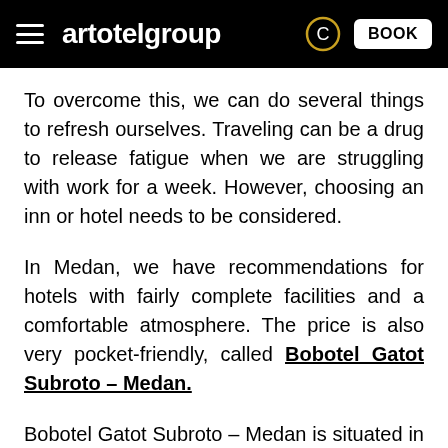artotelgroup  BOOK
To overcome this, we can do several things to refresh ourselves. Traveling can be a drug to release fatigue when we are struggling with work for a week. However, choosing an inn or hotel needs to be considered.
In Medan, we have recommendations for hotels with fairly complete facilities and a comfortable atmosphere. The price is also very pocket-friendly, called Bobotel Gatot Subroto – Medan.
Bobotel Gatot Subroto – Medan is situated in the city's famous main street, Jalan. Gatot Subroto. This area can be a vocal meeting point for business ventures, meetings, and the right